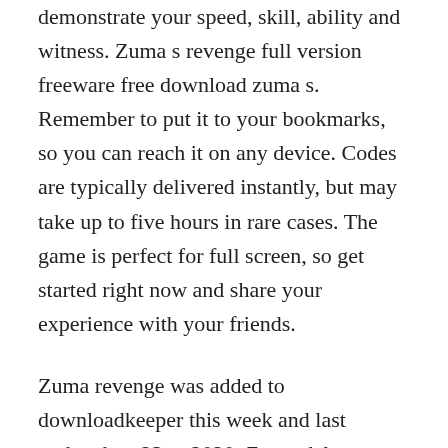demonstrate your speed, skill, ability and witness. Zuma s revenge full version freeware free download zuma s. Remember to put it to your bookmarks, so you can reach it on any device. Codes are typically delivered instantly, but may take up to five hours in rare cases. The game is perfect for full screen, so get started right now and share your experience with your friends.
Zuma revenge was added to downloadkeeper this week and last updated on 23apr2020. Zuma deluxe pc games free download full